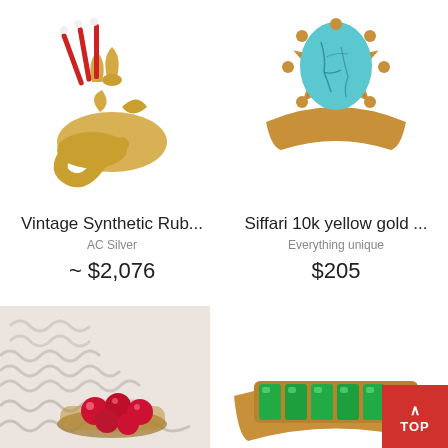[Figure (photo): Gold vintage synthetic ruby brooch/pin with red enamel accents and floral design on white background]
[Figure (photo): Siffari 10k yellow gold ring with large oval turquoise stone in decorative setting on white background]
Vintage Synthetic Rub...
AC Silver
~ $2,076
Siffari 10k yellow gold ...
Everything unique
$205
[Figure (photo): Ruby cluster ring with red gemstones on white fabric/textile background]
[Figure (photo): Gold band ring with green gemstones (emeralds) in channel setting, partial view]